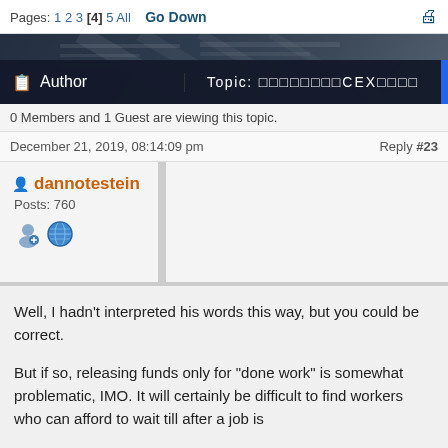Pages: 1 2 3 [4] 5 All   Go Down
[Figure (screenshot): Dark banner background image showing angled server/hardware panels]
Author   Topic: □□□□□□□□CEX□□□□
0 Members and 1 Guest are viewing this topic.
December 21, 2019, 08:14:09 pm   Reply #23
dannotestein
Posts: 760
Well, I hadn't interpreted his words this way, but you could be correct.

But if so, releasing funds only for "done work" is somewhat problematic, IMO. It will certainly be difficult to find workers who can afford to wait till after a job is